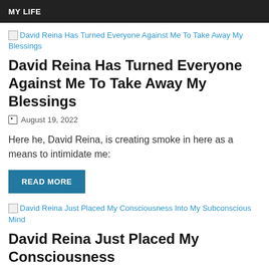MY LIFE
[Figure (other): Broken image placeholder with alt text: David Reina Has Turned Everyone Against Me To Take Away My Blessings]
David Reina Has Turned Everyone Against Me To Take Away My Blessings
August 19, 2022
Here he, David Reina, is creating smoke in here as a means to intimidate me:
READ MORE
[Figure (other): Broken image placeholder with alt text: David Reina Just Placed My Consciousness Into My Subconscious Mind]
David Reina Just Placed My Consciousness Into My Subconscious Mind